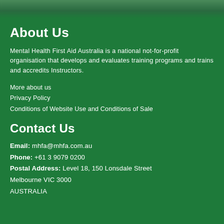[Figure (photo): Green-toned photo strip at the top of the page]
About Us
Mental Health First Aid Australia is a national not-for-profit organisation that develops and evaluates training programs and trains and accredits Instructors.
More about us
Privacy Policy
Conditions of Website Use and Conditions of Sale
Contact Us
Email: mhfa@mhfa.com.au
Phone: +61 3 9079 0200
Postal Address: Level 18, 150 Lonsdale Street
Melbourne VIC 3000
AUSTRALIA